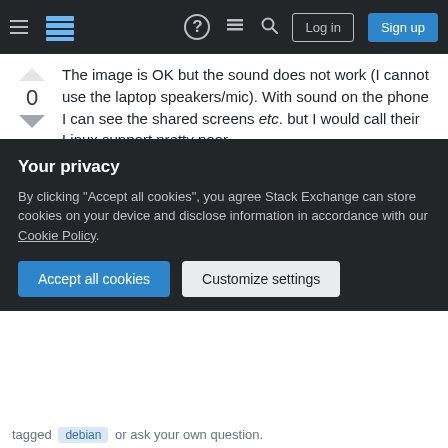Stack Exchange navigation bar with hamburger menu, logo, help, chat, search icons, Log in and Sign up buttons
The image is OK but the sound does not work (I cannot use the laptop speakers/mic). With sound on the phone I can see the shared screens etc. but I would call their Linux support pretty poor.
Share | Improve this answer | Follow | Add a comment
answered Jun 2, 2020 at 10:33
alle_meije
519 ● 1 ● 5 ● 14
Highly active question. Earn 10 reputation (not counting the
Your privacy
By clicking "Accept all cookies", you agree Stack Exchange can store cookies on your device and disclose information in accordance with our Cookie Policy.
Accept all cookies | Customize settings
tagged debian or ask your own question.